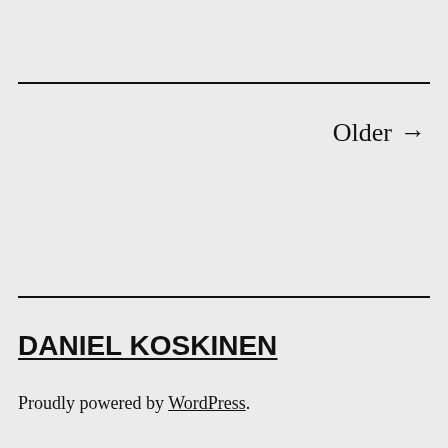Older →
DANIEL KOSKINEN
Proudly powered by WordPress.